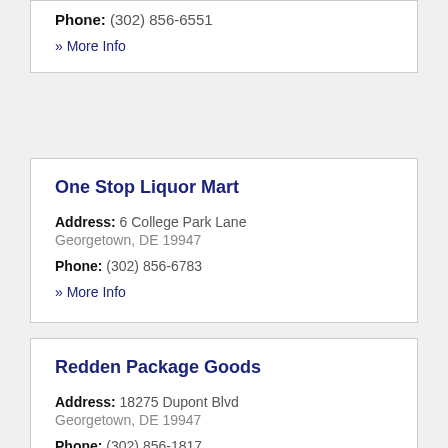Phone: (302) 856-6551
» More Info
One Stop Liquor Mart
Address: 6 College Park Lane Georgetown, DE 19947
Phone: (302) 856-6783
» More Info
Redden Package Goods
Address: 18275 Dupont Blvd Georgetown, DE 19947
Phone: (302) 856-1817